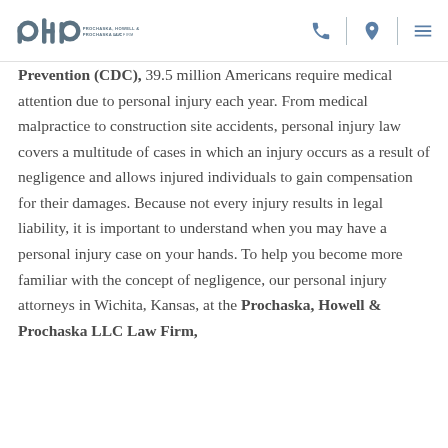Prochaska, Howell & Prochaska LLC Law Firm
Prevention (CDC), 39.5 million Americans require medical attention due to personal injury each year. From medical malpractice to construction site accidents, personal injury law covers a multitude of cases in which an injury occurs as a result of negligence and allows injured individuals to gain compensation for their damages. Because not every injury results in legal liability, it is important to understand when you may have a personal injury case on your hands. To help you become more familiar with the concept of negligence, our personal injury attorneys in Wichita, Kansas, at the Prochaska, Howell & Prochaska LLC Law Firm,